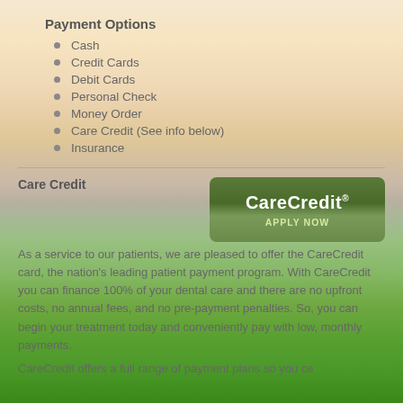Payment Options
Cash
Credit Cards
Debit Cards
Personal Check
Money Order
Care Credit (See info below)
Insurance
Care Credit
[Figure (logo): CareCredit logo with 'APPLY NOW' text on a green gradient button]
As a service to our patients, we are pleased to offer the CareCredit card, the nation's leading patient payment program. With CareCredit you can finance 100% of your dental care and there are no upfront costs, no annual fees, and no pre-payment penalties. So, you can begin your treatment today and conveniently pay with low, monthly payments.
CareCredit offers a full range of payment plans so you ce